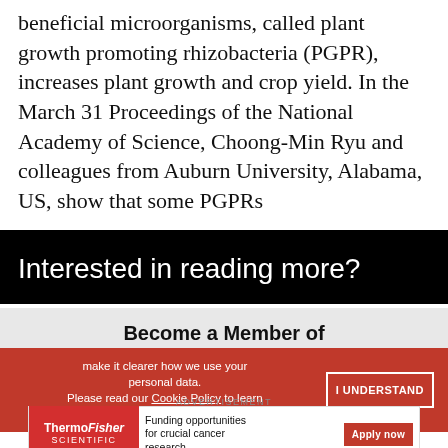beneficial microorganisms, called plant growth promoting rhizobacteria (PGPR), increases plant growth and crop yield. In the March 31 Proceedings of the National Academy of Science, Choong-Min Ryu and colleagues from Auburn University, Alabama, US, show that some PGPRs
Interested in reading more?
Become a Member of
The Scientist
make it clearer how we use your personal data. Please read our Cookie Policy to learn how we use cookies to provide you
I UNDERSTAND
ADVERTISEMENT
[Figure (other): ThermoFisher Scientific advertisement banner: Funding opportunities for crucial cancer research. Apply now button.]